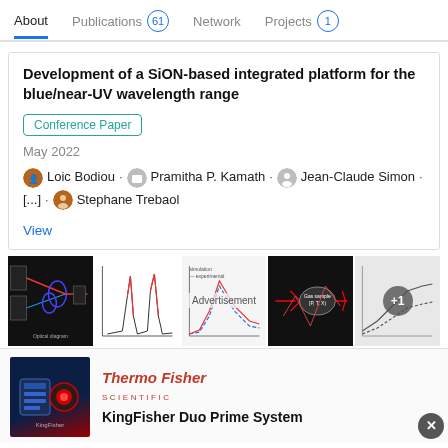About  Publications 61  Network  Projects 1
Development of a SiON-based integrated platform for the blue/near-UV wavelength range
Conference Paper
May 2022
Loic Bodiou · Pramitha P. Kamath · Jean-Claude Simon · [...] · Stephane Trebaol
View
[Figure (screenshot): Five thumbnail images of figures from the paper: an optical diagram with blue rings, a spectral graph, a simulation vs experimental comparison chart, a diagram with 'Gas sample (P, T, X)' label, and a grey graph with '+1' overlay.]
Advertisement overlay text
[Figure (photo): ThermoFisher Scientific advertisement showing a laboratory instrument (KingFisher Duo Prime System).]
KingFisher Duo Prime System